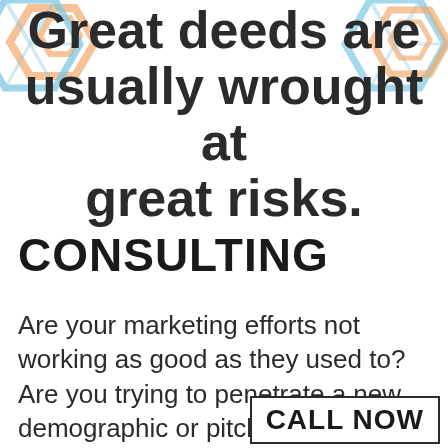Great deeds are usually wrought at great risks.
[Figure (illustration): Decorative geometric 3D cube/hexagon shapes in light blue and peach/orange tones, positioned top-left and top-right corners as decorative elements behind the title text.]
CONSULTING
Are your marketing efforts not working as good as they used to? Are you trying to penetrate a new demographic or pitch a new product/service? A marketing audit may be something your business can benefit from! You will receive a 360 degree SWOT Analysis & a list of
CALL NOW